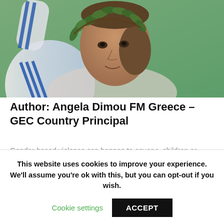[Figure (photo): A woman wearing a white and blue athletic jacket and an olive leaf crown on her head, raising her arm, smiling. Background is blurred green.]
Author: Angela Dimou FM Greece – GEC Country Principal
Gender-based violence can happen to anyone, children or adults, regardless of one's gender orientation or sexual identity. We are living in a moment in history in which traditional power structures are being meaningfully challenged and marginalized voices are
This website uses cookies to improve your experience. We'll assume you're ok with this, but you can opt-out if you wish.
Cookie settings
ACCEPT